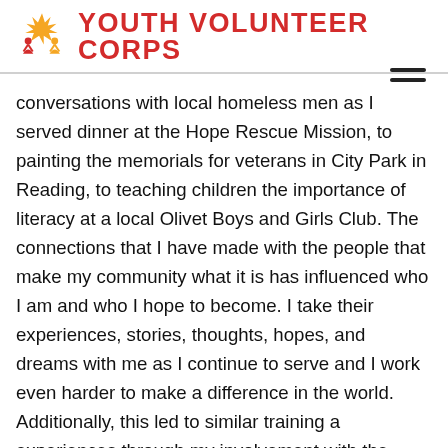YOUTH VOLUNTEER CORPS
conversations with local homeless men as I served dinner at the Hope Rescue Mission, to painting the memorials for veterans in City Park in Reading, to teaching children the importance of literacy at a local Olivet Boys and Girls Club. The connections that I have made with the people that make my community what it is has influenced who I am and who I hope to become. I take their experiences, stories, thoughts, hopes, and dreams with me as I continue to serve and I work even harder to make a difference in the world. Additionally, this led to similar training a experiences through my involvement with the International Youth Advisory Board hosted by Youth